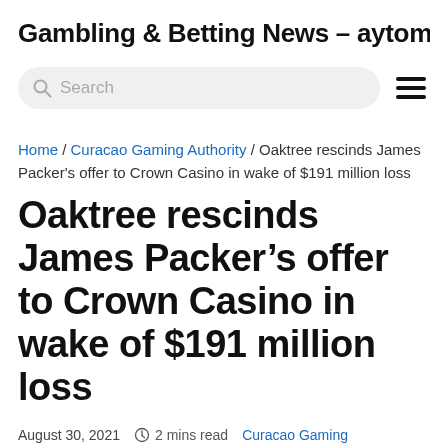Gambling & Betting News – aytomallen.co
Search
Home / Curacao Gaming Authority / Oaktree rescinds James Packer's offer to Crown Casino in wake of $191 million loss
Oaktree rescinds James Packer's offer to Crown Casino in wake of $191 million loss
August 30, 2021   2 mins read   Curacao Gaming